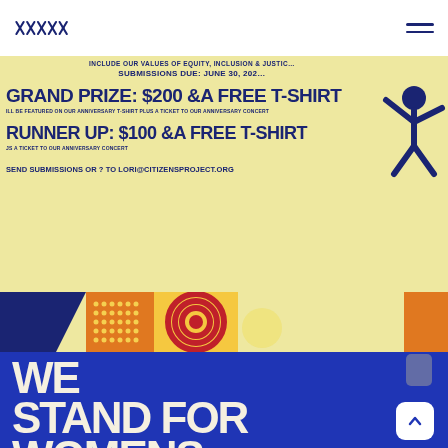Citizens Project logo and navigation menu
[Figure (infographic): Promotional banner for Citizens Project anniversary t-shirt design contest on yellow background. Grand Prize $200 and a free t-shirt, Runner Up $100 and a free t-shirt, submissions to lori@citizensproject.org by June 30. Colorful strip at bottom with navy, orange polka dots, red concentric rings, yellow and orange sections. Blue stick figure on right side.]
[Figure (infographic): Blue banner section with large white bold text reading WE STAND FOR WOMENS (text continues below visible area).]